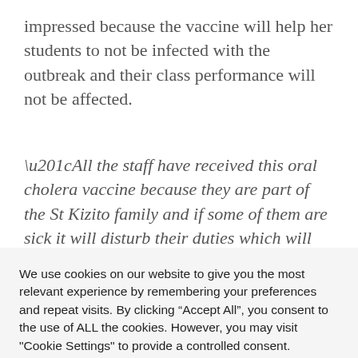impressed because the vaccine will help her students to not be infected with the outbreak and their class performance will not be affected.
“All the staff have received this oral cholera vaccine because they are part of the St Kizito family and if some of them are sick it will disturb their duties which will lower the development of this country through education”, Nakoma said.
We use cookies on our website to give you the most relevant experience by remembering your preferences and repeat visits. By clicking “Accept All”, you consent to the use of ALL the cookies. However, you may visit "Cookie Settings" to provide a controlled consent.